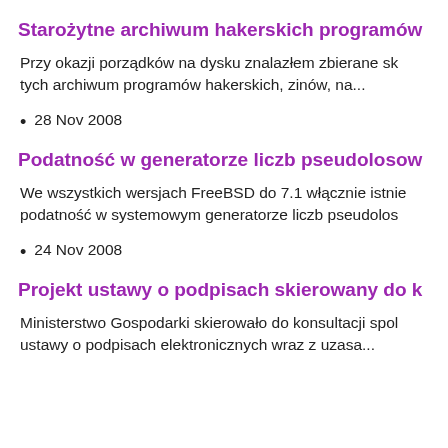Starożytne archiwum hakerskich programów
Przy okazji porządków na dysku znalazłem zbierane sk- tych archiwum programów hakerskich, zinów, na...
28 Nov 2008
Podatność w generatorze liczb pseudolosow
We wszystkich wersjach FreeBSD do 7.1 włącznie istnie- podatność w systemowym generatorze liczb pseudolos
24 Nov 2008
Projekt ustawy o podpisach skierowany do k
Ministerstwo Gospodarki skierowało do konsultacji spol- ustawy o podpisach elektronicznych wraz z uzasa...